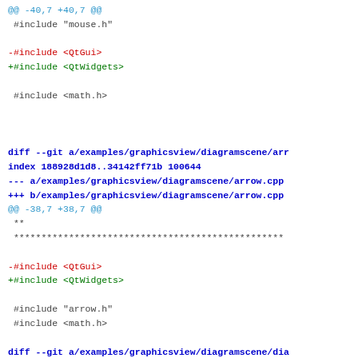@@ -40,7 +40,7 @@
 #include "mouse.h"
-#include <QtGui>
+#include <QtWidgets>
 #include <math.h>
diff --git a/examples/graphicsview/diagramscene/arr
index 188928d1d8..34142ff71b 100644
--- a/examples/graphicsview/diagramscene/arrow.cpp
+++ b/examples/graphicsview/diagramscene/arrow.cpp
@@ -38,7 +38,7 @@
 **
 ****************************************************
-#include <QtGui>
+#include <QtWidgets>
 #include "arrow.h"
 #include <math.h>
diff --git a/examples/graphicsview/diagramscene/dia
index cd7ce0c6e1..31c9627f9a 100644
--- a/examples/graphicsview/diagramscene/diagramite
+++ b/examples/graphicsview/diagramscene/diagramite
@@ -38,7 +38,7 @@
 **